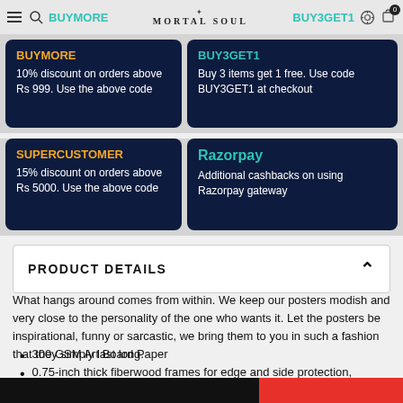BUYMORE | MORTAL SOUL | BUY3GET1
BUYMORE
10% discount on orders above Rs 999. Use the above code
BUY3GET1
Buy 3 items get 1 free. Use code BUY3GET1 at checkout
SUPERCUSTOMER
15% discount on orders above Rs 5000. Use the above code
Razorpay
Additional cashbacks on using Razorpay gateway
PRODUCT DETAILS
What hangs around comes from within. We keep our posters modish and very close to the personality of the one who wants it. Let the posters be inspirational, funny or sarcastic, we bring them to you in such a fashion that they simply last long.
300 GSM Art Board Paper
0.75-inch thick fiberwood frames for edge and side protection, applicable for framed posters